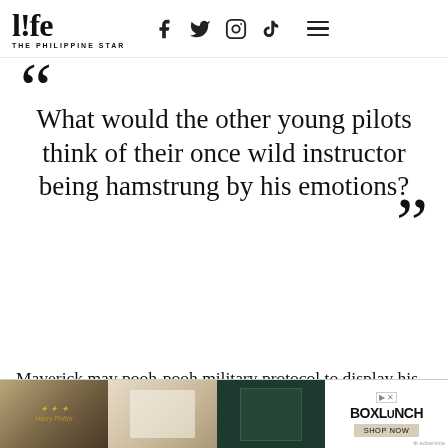l!fe THE PHILIPPINE STAR
What would the other young pilots think of their once wild instructor being hamstrung by his emotions?
Maverick may pooh-pooh military protocol to display his alpha male mad skillz but his journey in this movie is to discover his own mortality and emotive North
[Figure (other): Advertisement banner for BoxLunch showing Harry Potter merchandise and dark green book covers]